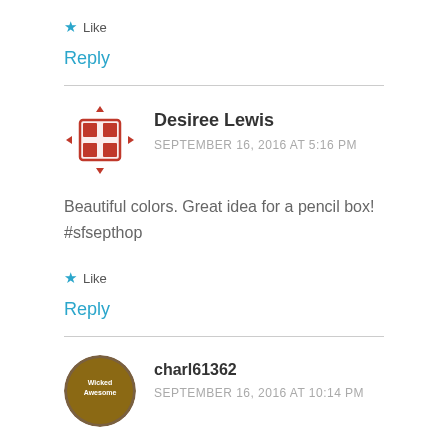★ Like
Reply
Desiree Lewis
SEPTEMBER 16, 2016 AT 5:16 PM
Beautiful colors. Great idea for a pencil box! #sfsepthop
★ Like
Reply
charl61362
SEPTEMBER 16, 2016 AT 10:14 PM